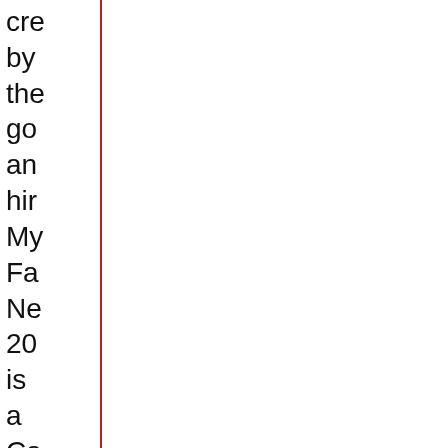cre by the go an hir My Fa Ne 20 is a Ca Sa ba rec ble wit so